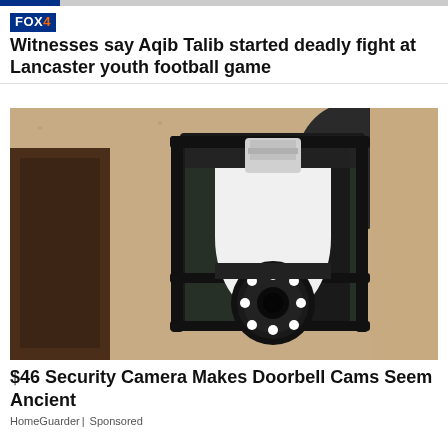FOX 4
Witnesses say Aqib Talib started deadly fight at Lancaster youth football game
[Figure (photo): A security camera shaped like a light bulb installed inside a black outdoor wall lantern fixture mounted on a textured stucco wall]
$46 Security Camera Makes Doorbell Cams Seem Ancient
HomeGuarder | Sponsored